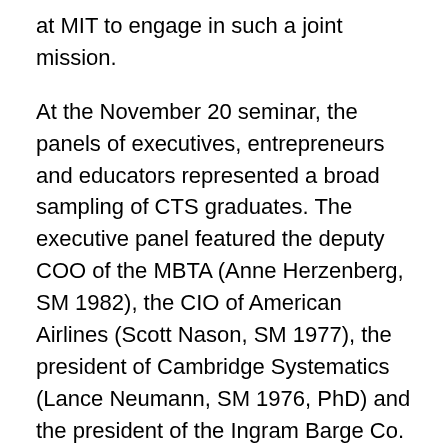at MIT to engage in such a joint mission.
At the November 20 seminar, the panels of executives, entrepreneurs and educators represented a broad sampling of CTS graduates. The executive panel featured the deputy COO of the MBTA (Anne Herzenberg, SM 1982), the CIO of American Airlines (Scott Nason, SM 1977), the president of Cambridge Systematics (Lance Neumann, SM 1976, PhD) and the president of the Ingram Barge Co. (Craig Philip, SM 1980, PhD).
Entrepreneurs were represented by Simon Lewis (SM 1986) of GISTrans, Ltd.; Carl Van Dyke (SB 1981, SM) of Multimodal Inc.; and James Worden (SB 1989) of Solectria Corp. The educators' panel